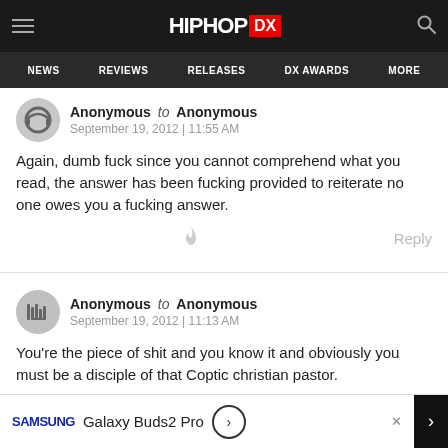HipHopDX - NEWS | REVIEWS | RELEASES | DX AWARDS | MORE
Anonymous to Anonymous
September 19, 2012 | 11:55 AM
Again, dumb fuck since you cannot comprehend what you read, the answer has been fucking provided to reiterate no one owes you a fucking answer.
Anonymous to Anonymous
September 19, 2012 | 11:13 AM
You're the piece of shit and you know it and obviously you must be a disciple of that Coptic christian pastor.
SAMSUNG Galaxy Buds2 Pro